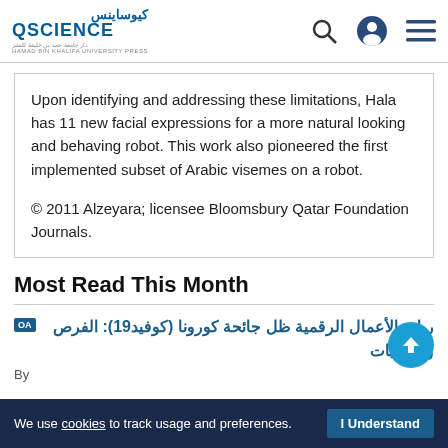كيوساينس QSCIENCE
Upon identifying and addressing these limitations, Hala has 11 new facial expressions for a more natural looking and behaving robot. This work also pioneered the first implemented subset of Arabic visemes on a robot.

© 2011 Alzeyara; licensee Bloomsbury Qatar Foundation Journals.
Most Read This Month
OA الفرص ريادة الأعمال الرقمية ظل جائحة كورونا (كوفيد19): والتحديات
By
We use cookies to track usage and preferences. I Understand